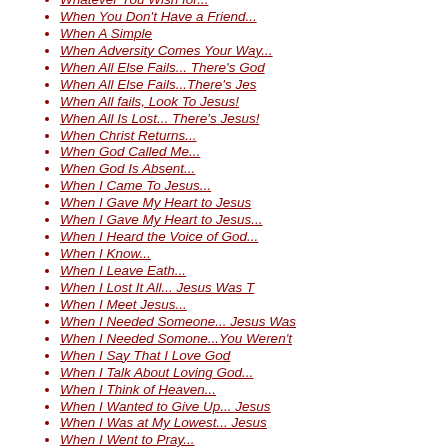Whatever You Wish for...
When You Don't Have a Friend...
When A Simple
When Adversity Comes Your Way...
When All Else Fails... There's God
When All Else Fails...There's Jes
When All fails, Look To Jesus!
When All Is Lost... There's Jesus!
When Christ Returns...
When God Called Me...
When God Is Absent...
When I Came To Jesus...
When I Gave My Heart to Jesus
When I Gave My Heart to Jesus...
When I Heard the Voice of God...
When I Know...
When I Leave Eath...
When I Lost It All... Jesus Was T
When I Meet Jesus...
When I Needed Someone... Jesus Was
When I Needed Somone...You Weren't
When I Say That I Love God
When I Talk About Loving God...
When I Think of Heaven...
When I Wanted to Give Up... Jesus
When I Was at My Lowest... Jesus
When I Went to Pray...
When Is a Good Time?
When It Comes To Jesus...
When Jesus Calls, I Need To Listen!
When Jesus Comes Again...